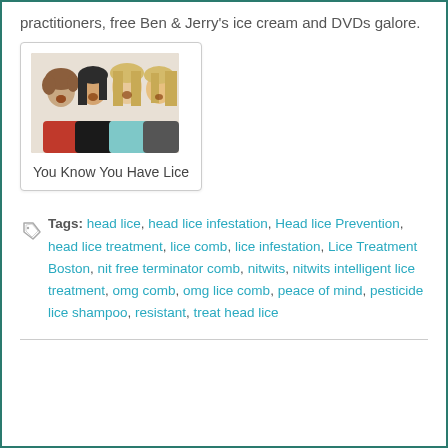practitioners, free Ben & Jerry's ice cream and DVDs galore.
[Figure (photo): Group photo of four young women posing together with surprised/excited expressions, one wearing a red top]
You Know You Have Lice
Tags: head lice, head lice infestation, Head lice Prevention, head lice treatment, lice comb, lice infestation, Lice Treatment Boston, nit free terminator comb, nitwits, nitwits intelligent lice treatment, omg comb, omg lice comb, peace of mind, pesticide lice shampoo, resistant, treat head lice